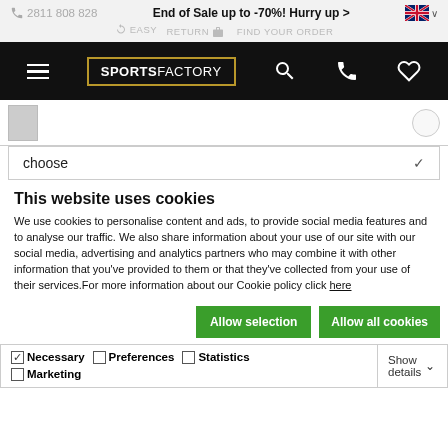2811 808 828  End of Sale up to -70%! Hurry up >  [UK flag]  EASY RETURN  FIND YOUR ORDER
[Figure (screenshot): Navigation bar with hamburger menu, SPORTSFACTORY logo, search icon, phone icon, and heart icon on black background]
[Figure (screenshot): Product thumbnail image area with small product image and search circle]
choose
This website uses cookies
We use cookies to personalise content and ads, to provide social media features and to analyse our traffic. We also share information about your use of our site with our social media, advertising and analytics partners who may combine it with other information that you've provided to them or that they've collected from your use of their services.For more information about our Cookie policy click here
Allow selection  Allow all cookies
Necessary  Preferences  Statistics  Marketing  Show details